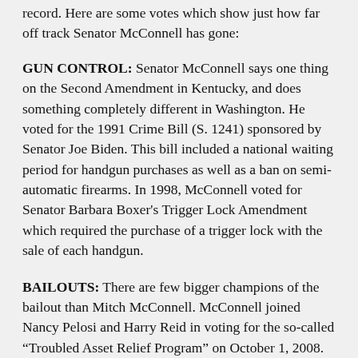record. Here are some votes which show just how far off track Senator McConnell has gone:
GUN CONTROL: Senator McConnell says one thing on the Second Amendment in Kentucky, and does something completely different in Washington. He voted for the 1991 Crime Bill (S. 1241) sponsored by Senator Joe Biden. This bill included a national waiting period for handgun purchases as well as a ban on semi-automatic firearms. In 1998, McConnell voted for Senator Barbara Boxer's Trigger Lock Amendment which required the purchase of a trigger lock with the sale of each handgun.
BAILOUTS: There are few bigger champions of the bailout than Mitch McConnell. McConnell joined Nancy Pelosi and Harry Reid in voting for the so-called “Troubled Asset Relief Program” on October 1, 2008. Nancy Pelosi and Harry Reid (R-KY) voted “Nay” on the same bill. McConnell was a champion of the TARP legislation, and referred to